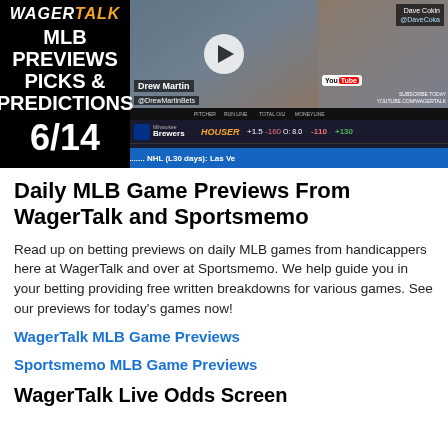[Figure (screenshot): WagerTalk MLB Previews Picks & Predictions 6/14 video thumbnail showing hosts Drew Martin and Dave Cokin with baseball scoreboard overlay showing Brewers vs Mets game lines]
Daily MLB Game Previews From WagerTalk and Sportsmemo
Read up on betting previews on daily MLB games from handicappers here at WagerTalk and over at Sportsmemo. We help guide you in your betting providing free written breakdowns for various games. See our previews for today’s games now!
WagerTalk MLB Game Previews
Sportsmemo MLB Game Previews
WagerTalk Live Odds Screen